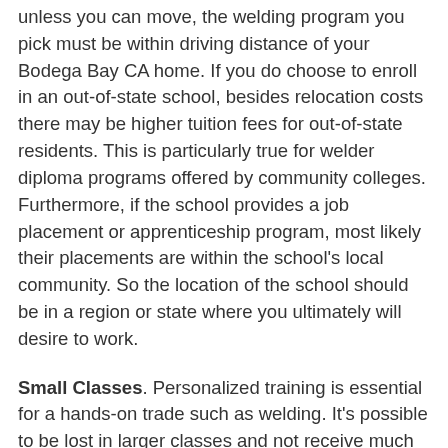unless you can move, the welding program you pick must be within driving distance of your Bodega Bay CA home. If you do choose to enroll in an out-of-state school, besides relocation costs there may be higher tuition fees for out-of-state residents. This is particularly true for welder diploma programs offered by community colleges. Furthermore, if the school provides a job placement or apprenticeship program, most likely their placements are within the school's local community. So the location of the school should be in a region or state where you ultimately will desire to work.
Small Classes. Personalized training is essential for a hands-on trade such as welding. It's possible to be lost in larger classes and not receive much personalized training. Ask what the average class size is for the Bodega Bay CA area welding schools you are looking at. Ask if you can attend a few classes so that you can experience how much personal attention the students